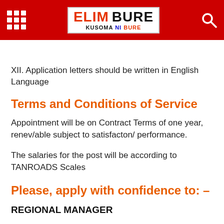[Figure (logo): Elim Bure website header with red background, grid icon on left, Elim Bure logo in center, and search icon on right]
XII. Application letters should be written in English Language
Terms and Conditions of Service
Appointment will be on Contract Terms of one year, renev/able subject to satisfacton/ performance.
The salaries for the post will be according to TANROADS Scales
Please, apply with confidence to: –
REGIONAL MANAGER